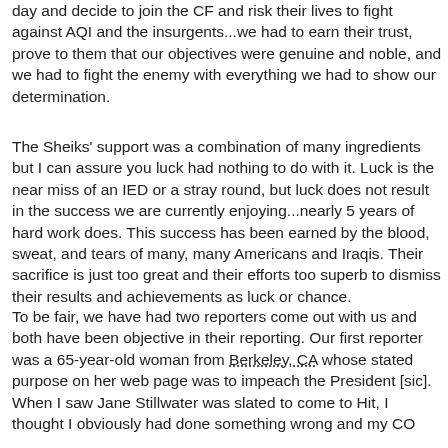day and decide to join the CF and risk their lives to fight against AQI and the insurgents...we had to earn their trust, prove to them that our objectives were genuine and noble, and we had to fight the enemy with everything we had to show our determination.
The Sheiks' support was a combination of many ingredients but I can assure you luck had nothing to do with it. Luck is the near miss of an IED or a stray round, but luck does not result in the success we are currently enjoying...nearly 5 years of hard work does. This success has been earned by the blood, sweat, and tears of many, many Americans and Iraqis. Their sacrifice is just too great and their efforts too superb to dismiss their results and achievements as luck or chance.
To be fair, we have had two reporters come out with us and both have been objective in their reporting. Our first reporter was a 65-year-old woman from Berkeley, CA whose stated purpose on her web page was to impeach the President [sic]. When I saw Jane Stillwater was slated to come to Hit, I thought I obviously had done something wrong and my CO